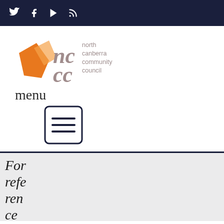Twitter Facebook YouTube RSS social icons
[Figure (logo): North Canberra Community Council logo with orange geometric shape and 'nccc' text in grey, with 'north canberra community council' text beside it]
menu
[Figure (other): Hamburger menu icon — three horizontal lines inside a rounded rectangle border]
For reference purposes the